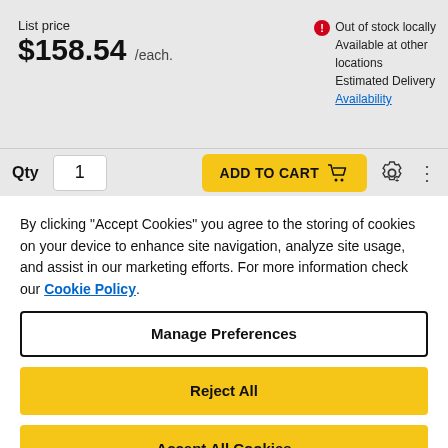List price
$158.54 /each.
Out of stock locally
Available at other locations
Estimated Delivery
Availability
Qty  1  ADD TO CART
By clicking "Accept Cookies" you agree to the storing of cookies on your device to enhance site navigation, analyze site usage, and assist in our marketing efforts. For more information check our Cookie Policy.
Manage Preferences
Reject All
Accept All Cookies